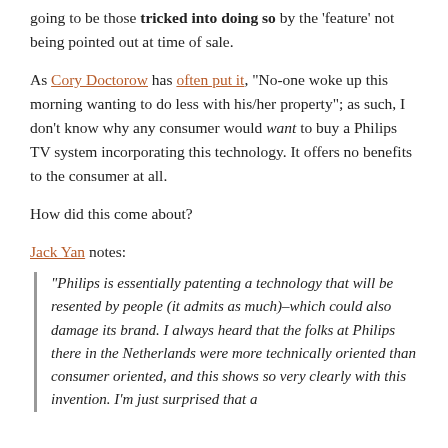going to be those tricked into doing so by the 'feature' not being pointed out at time of sale.
As Cory Doctorow has often put it, "No-one woke up this morning wanting to do less with his/her property"; as such, I don't know why any consumer would want to buy a Philips TV system incorporating this technology. It offers no benefits to the consumer at all.
How did this come about?
Jack Yan notes:
“Philips is essentially patenting a technology that will be resented by people (it admits as much)–which could also damage its brand. I always heard that the folks at Philips there in the Netherlands were more technically oriented than consumer oriented, and this shows so very clearly with this invention. I’m just surprised that a